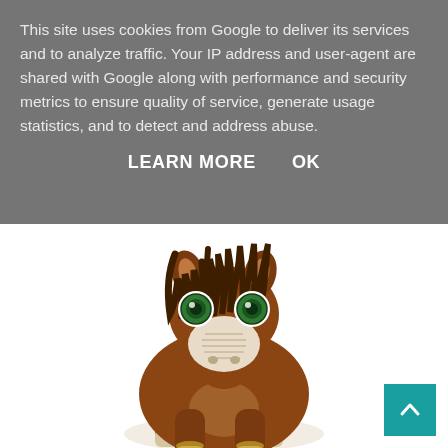This site uses cookies from Google to deliver its services and to analyze traffic. Your IP address and user-agent are shared with Google along with performance and security metrics to ensure quality of service, generate usage statistics, and to detect and address abuse.
LEARN MORE    OK
[Figure (photo): A crocheted amigurumi horse toy with brown yarn body, dark brown mane, large sparkly green eyes, and cream/white muzzle and leg accents, photographed on a white background.]